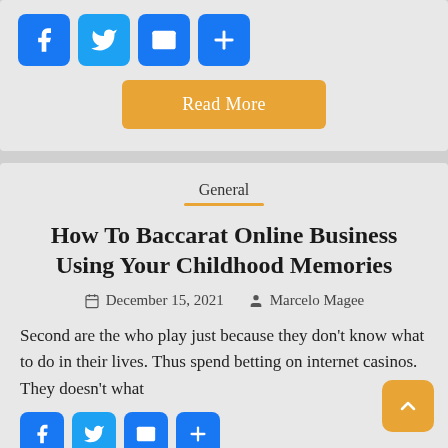[Figure (other): Social sharing icons: Facebook (blue), Twitter (blue), Mail (blue), Plus/Share (blue)]
Read More
General
How To Baccarat Online Business Using Your Childhood Memories
December 15, 2021   Marcelo Magee
Second are the who play just because they don't know what to do in their lives. Thus spend betting on internet casinos. They doesn't what